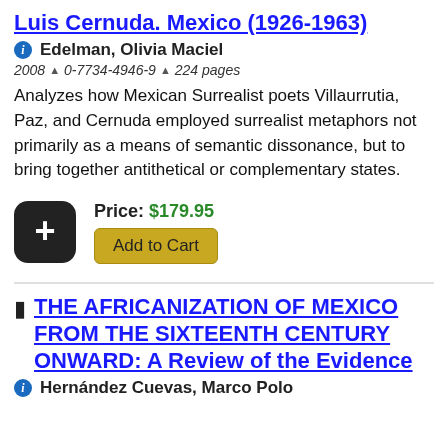Luis Cernuda. Mexico (1926-1963)
Edelman, Olivia Maciel
2008 ▲ 0-7734-4946-9 ▲ 224 pages
Analyzes how Mexican Surrealist poets Villaurrutia, Paz, and Cernuda employed surrealist metaphors not primarily as a means of semantic dissonance, but to bring together antithetical or complementary states.
Price: $179.95
Add to Cart
THE AFRICANIZATION OF MEXICO FROM THE SIXTEENTH CENTURY ONWARD: A Review of the Evidence
Hernández Cuevas, Marco Polo